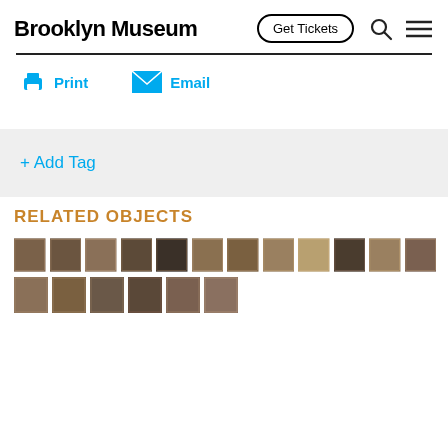Brooklyn Museum
Get Tickets
Print
Email
+ Add Tag
RELATED OBJECTS
[Figure (photo): Grid of 18 small thumbnail images of related museum objects, sepia-toned artworks arranged in two rows]